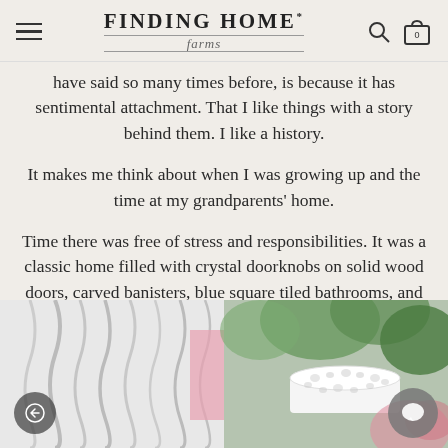FINDING HOME farms
have said so many times before, is because it has sentimental attachment. That I like things with a story behind them. I like a history.
It makes me think about when I was growing up and the time at my grandparents' home.
Time there was free of stress and responsibilities. It was a classic home filled with crystal doorknobs on solid wood doors, carved banisters, blue square tiled bathrooms, and a bread drawer in the kitchen.
[Figure (photo): Photo strip showing white ruffled fabric on the left half and a white lace/crochet bowl with flowers and greenery on the right half]